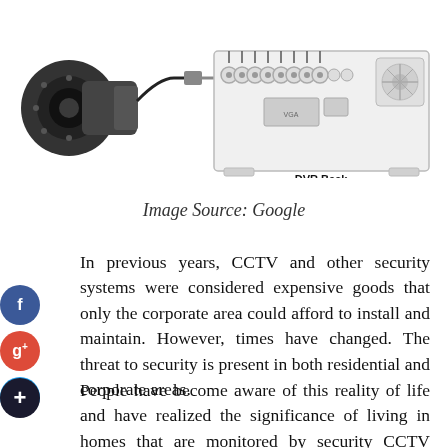[Figure (photo): CCTV bullet camera on the left with a cable connector and a DVR back panel showing multiple BNC connectors, ports, and a cooling fan. Label 'DVR Back' below the DVR unit.]
Image Source: Google
In previous years, CCTV and other security systems were considered expensive goods that only the corporate area could afford to install and maintain. However, times have changed. The threat to security is present in both residential and corporate areas.
People have become aware of this reality of life and have realized the significance of living in homes that are monitored by security CCTV systems or any